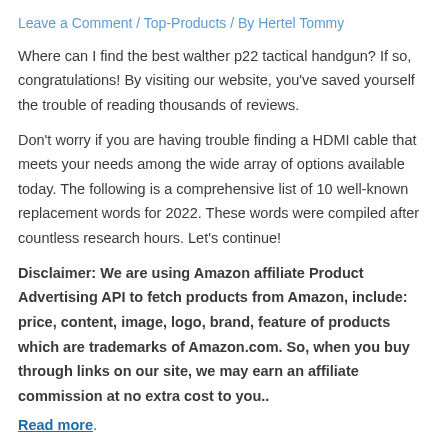Leave a Comment / Top-Products / By Hertel Tommy
Where can I find the best walther p22 tactical handgun? If so, congratulations! By visiting our website, you've saved yourself the trouble of reading thousands of reviews.
Don't worry if you are having trouble finding a HDMI cable that meets your needs among the wide array of options available today. The following is a comprehensive list of 10 well-known replacement words for 2022. These words were compiled after countless research hours. Let's continue!
Disclaimer: We are using Amazon affiliate Product Advertising API to fetch products from Amazon, include: price, content, image, logo, brand, feature of products which are trademarks of Amazon.com. So, when you buy through links on our site, we may earn an affiliate commission at no extra cost to you..
Read more.